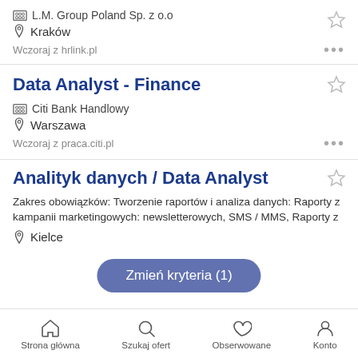L.M. Group Poland Sp. z o.o
Kraków
Wczoraj z hrlink.pl
Data Analyst - Finance
Citi Bank Handlowy
Warszawa
Wczoraj z praca.citi.pl
Analityk danych / Data Analyst
Zakres obowiązków: Tworzenie raportów i analiza danych: Raporty z kampanii marketingowych: newsletterowych, SMS / MMS, Raporty z
Kielce
Zmień kryteria (1)
Wczoraj z projektprace.eu
Strona główna  Szukaj ofert  Obserwowane  Konto